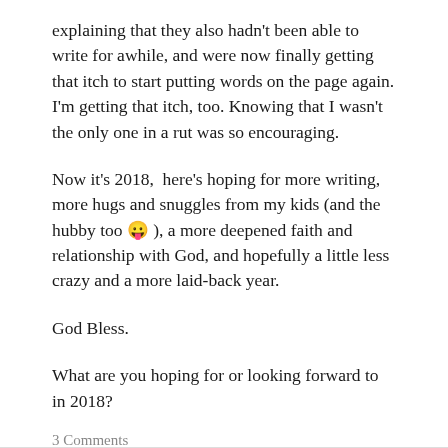explaining that they also hadn't been able to write for awhile, and were now finally getting that itch to start putting words on the page again. I'm getting that itch, too. Knowing that I wasn't the only one in a rut was so encouraging.
Now it's 2018,  here's hoping for more writing, more hugs and snuggles from my kids (and the hubby too 😛 ), a more deepened faith and relationship with God, and hopefully a little less crazy and a more laid-back year.
God Bless.
What are you hoping for or looking forward to in 2018?
3 Comments